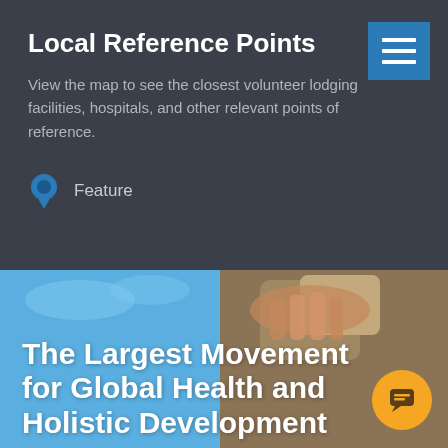Local Reference Points
View the map to see the closest volunteer lodging facilities, hospitals, and other relevant points of reference.
Feature
[Figure (photo): Photo of hands holding a stone/rock against a blue sky background, with overlaid white text 'The Largest Movement for Global Health and Holistic Development' and an orange chat button in the bottom right]
The Largest Movement for Global Health and Holistic Development